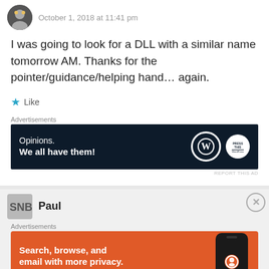October 1, 2018 at 11:41 pm
I was going to look for a DLL with a similar name tomorrow AM. Thanks for the pointer/guidance/helping hand... again.
★ Like
Advertisements
[Figure (infographic): WordPress advertisement banner: dark navy background with 'Opinions. We all have them!' text and WordPress and Press This logos]
REPORT THIS AD
Paul
Advertisements
[Figure (infographic): DuckDuckGo advertisement: orange background with 'Search, browse, and email with more privacy. All in One Free App' and phone image with DuckDuckGo logo]